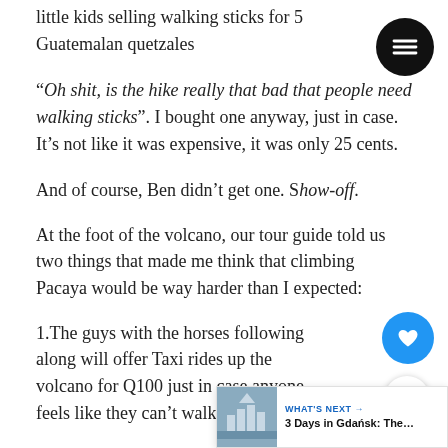little kids selling walking sticks for 5 Guatemalan quetzales
“Oh shit, is the hike really that bad that people need walking sticks”. I bought one anyway, just in case. It’s not like it was expensive, it was only 25 cents.
And of course, Ben didn’t get one. Show-off.
At the foot of the volcano, our tour guide told us two things that made me think that climbing Pacaya would be way harder than I expected:
1.The guys with the horses following along will offer Taxi rides up the volcano for Q100 just in case anyone feels like they can’t walk any further.